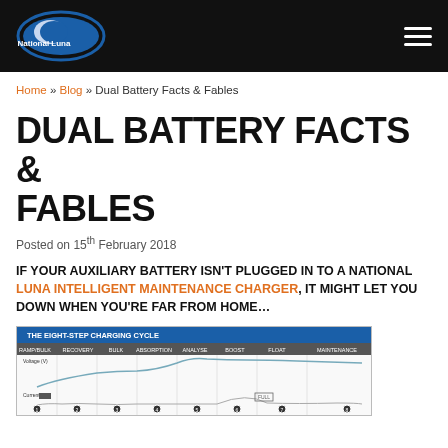National Luna (logo) | hamburger menu
Home » Blog » Dual Battery Facts & Fables
DUAL BATTERY FACTS & FABLES
Posted on 15th February 2018
IF YOUR AUXILIARY BATTERY ISN'T PLUGGED IN TO A NATIONAL LUNA INTELLIGENT MAINTENANCE CHARGER, IT MIGHT LET YOU DOWN WHEN YOU'RE FAR FROM HOME…
[Figure (other): THE EIGHT-STEP CHARGING CYCLE diagram showing voltage and current curves across 8 stages: Ramp/Bulk, Recovery, Bulk, Absorption, Analyse, Boost, Float, Maintenance]